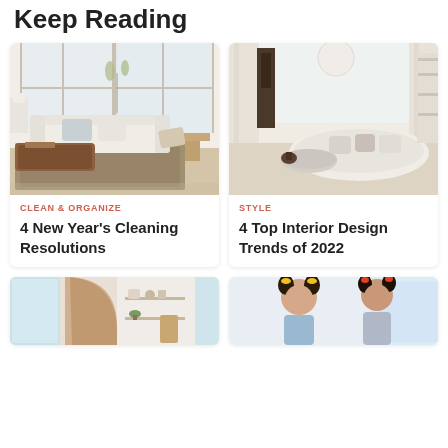Keep Reading
[Figure (photo): Bright living room with white sofa, leather ottoman, patterned rug, and large French doors]
CLEAN & ORGANIZE
4 New Year's Cleaning Resolutions
[Figure (photo): Elegant living room with curved white sofa, round coffee table, tall curtains and arched ceiling]
STYLE
4 Top Interior Design Trends of 2022
[Figure (photo): Kitchen or bathroom with wooden arch, shelves with plants and decor, white walls]
[Figure (photo): Two young girls with hair in pigtails, one with yellow ties, one with red ties]